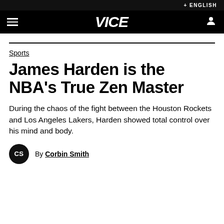+ ENGLISH
VICE
Sports
James Harden is the NBA's True Zen Master
During the chaos of the fight between the Houston Rockets and Los Angeles Lakers, Harden showed total control over his mind and body.
By Corbin Smith